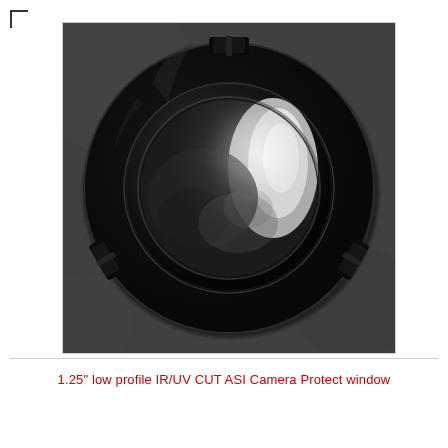[Figure (photo): Black and white photograph of a 1.25 inch low profile IR/UV CUT ASI Camera Protect window. The circular optical filter has a black anodized aluminum ring housing with bayonet-style locking tabs at the top, bottom-left, and bottom-right positions, and a clear protective optical glass window in the center that shows reflections of light.]
1.25" low profile IR/UV CUT ASI Camera Protect window